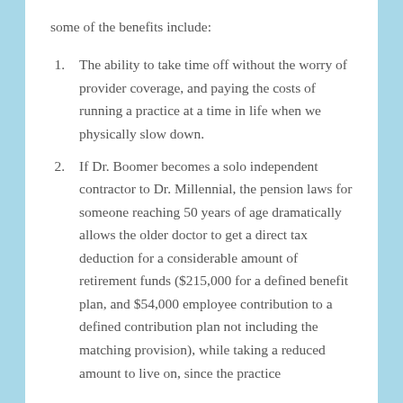some of the benefits include:
The ability to take time off without the worry of provider coverage, and paying the costs of running a practice at a time in life when we physically slow down.
If Dr. Boomer becomes a solo independent contractor to Dr. Millennial, the pension laws for someone reaching 50 years of age dramatically allows the older doctor to get a direct tax deduction for a considerable amount of retirement funds ($215,000 for a defined benefit plan, and $54,000 employee contribution to a defined contribution plan not including the matching provision), while taking a reduced amount to live on, since the practice